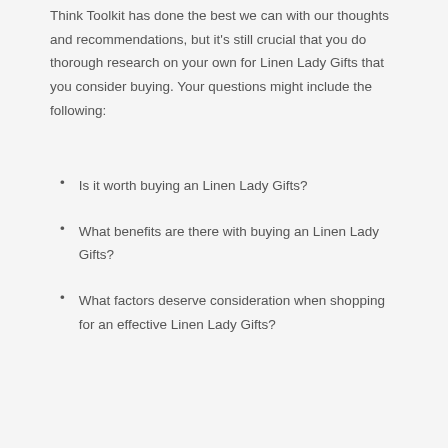Think Toolkit has done the best we can with our thoughts and recommendations, but it’s still crucial that you do thorough research on your own for Linen Lady Gifts that you consider buying. Your questions might include the following:
Is it worth buying an Linen Lady Gifts?
What benefits are there with buying an Linen Lady Gifts?
What factors deserve consideration when shopping for an effective Linen Lady Gifts?